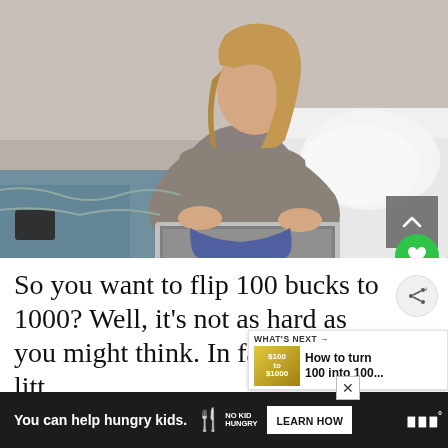[Figure (photo): Young woman with long blonde hair sitting cross-legged on a bed, working on a laptop. She is wearing a grey top and jeans. The room has a beige/grey wall. White pillows and bedding visible to the right. A scroll-up button (grey square with upward chevron) appears in the lower right of the image. A green circular heart/like button overlaps the bottom-right corner.]
So you want to flip 100 bucks to 1000? Well, it's not as hard as you might think. In fact, with a little effort and some basic knowledge, you can
[Figure (infographic): WHAT'S NEXT panel showing a small thumbnail image with '$100 to $1000' text and the caption 'How to turn 100 into 100...']
You can help hungry kids.   NO KID HUNGRY   LEARN HOW